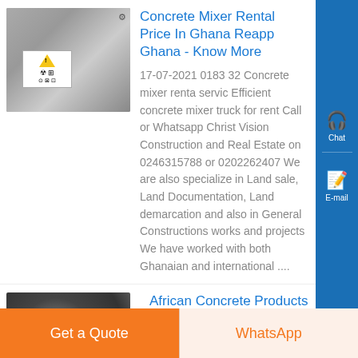[Figure (photo): Concrete mixer machine close-up with warning label and gear/bolt visible on metal surface]
Concrete Mixer Rental Price In Ghana Reapp Ghana - Know More
17-07-2021 0183 32 Concrete mixer renta servic Efficient concrete mixer truck for rent Call or Whatsapp Christ Vision Construction and Real Estate on 0246315788 or 0202262407 We are also specialize in Land sale, Land Documentation, Land demarcation and also in General Constructions works and projects We have worked with both Ghanaian and international ....
[Figure (photo): Close-up of curved concrete or metal rolls/coils in dark tones]
African Concrete Products - Know More